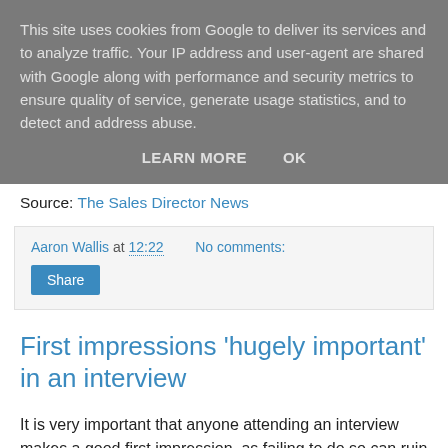This site uses cookies from Google to deliver its services and to analyze traffic. Your IP address and user-agent are shared with Google along with performance and security metrics to ensure quality of service, generate usage statistics, and to detect and address abuse.
LEARN MORE    OK
Source: The Sales Director News
Aaron Wallis at 12:22    No comments:
Share
First impressions 'hugely important' in an interview
It is very important that anyone attending an interview makes a good first impression, as failing to do so can ruin their chances of gaining employment, it has been noted.